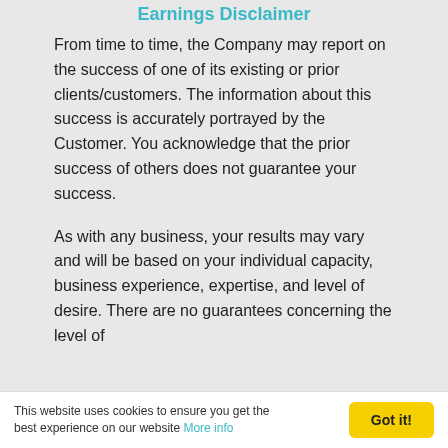Earnings Disclaimer
From time to time, the Company may report on the success of one of its existing or prior clients/customers. The information about this success is accurately portrayed by the Customer. You acknowledge that the prior success of others does not guarantee your success.
As with any business, your results may vary and will be based on your individual capacity, business experience, expertise, and level of desire. There are no guarantees concerning the level of
This website uses cookies to ensure you get the best experience on our website More info